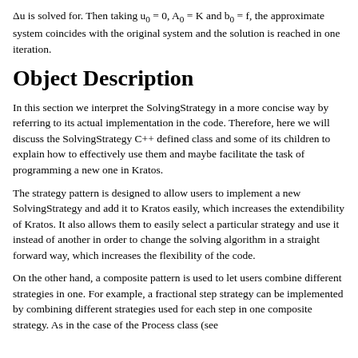Δu is solved for. Then taking u₀ = 0, A₀ = K and b₀ = f, the approximate system coincides with the original system and the solution is reached in one iteration.
Object Description
In this section we interpret the SolvingStrategy in a more concise way by referring to its actual implementation in the code. Therefore, here we will discuss the SolvingStrategy C++ defined class and some of its children to explain how to effectively use them and maybe facilitate the task of programming a new one in Kratos.
The strategy pattern is designed to allow users to implement a new SolvingStrategy and add it to Kratos easily, which increases the extendibility of Kratos. It also allows them to easily select a particular strategy and use it instead of another in order to change the solving algorithm in a straight forward way, which increases the flexibility of the code.
On the other hand, a composite pattern is used to let users combine different strategies in one. For example, a fractional step strategy can be implemented by combining different strategies used for each step in one composite strategy. As in the case of the Process class (see